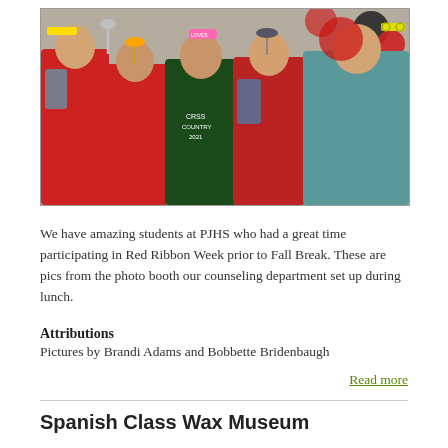[Figure (photo): Group of five middle school students holding up prop mustaches, glasses, and tie accessories in a photo booth setting during Red Ribbon Week. Students wearing red, green, and teal shirts with backpacks. Balloons visible in background.]
We have amazing students at PJHS who had a great time participating in Red Ribbon Week prior to Fall Break. These are pics from the photo booth our counseling department set up during lunch.
Attributions
Pictures by Brandi Adams and Bobbette Bridenbaugh
Read more
Spanish Class Wax Museum